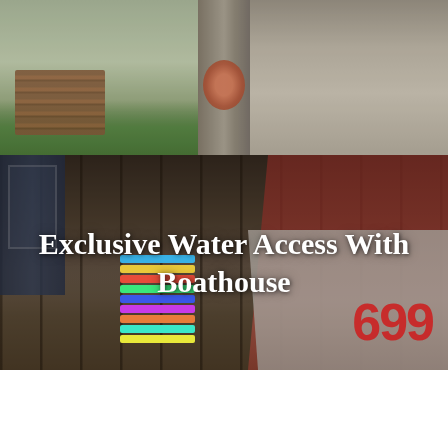[Figure (photo): Collage of outdoor terrace with wood furniture (top-left), stone pathway with flowers (top-right), and boathouse interior with kayaks, colorful mats, hanging boats, a white hull with '699' in red, and a blue door on the far left]
Exclusive Water Access With Boathouse